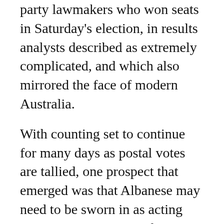party lawmakers who won seats in Saturday's election, in results analysts described as extremely complicated, and which also mirrored the face of modern Australia.
With counting set to continue for many days as postal votes are tallied, one prospect that emerged was that Albanese may need to be sworn in as acting prime minister to attend Tuesday's Quad summit in Tokyo with U.S. President Joe Biden, Japanese Prime Minister Fumio Kishida and Indian Prime Minister Narendra Modi.
Biden congratulated Albanese on his election victory in a phone call Sunday, the White House said, and reaffirmed Washington's "steadfast commitment to the U.S-Australia alliance and